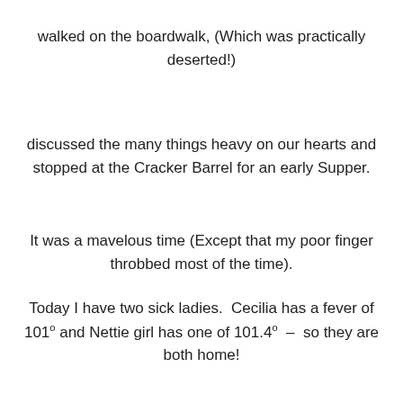walked on the boardwalk, (Which was practically deserted!)
discussed the many things heavy on our hearts and stopped at the Cracker Barrel for an early Supper.
It was a mavelous time (Except that my poor finger throbbed most of the time).
Today I have two sick ladies. Cecilia has a fever of 101° and Nettie girl has one of 101.4° – so they are both home!
…